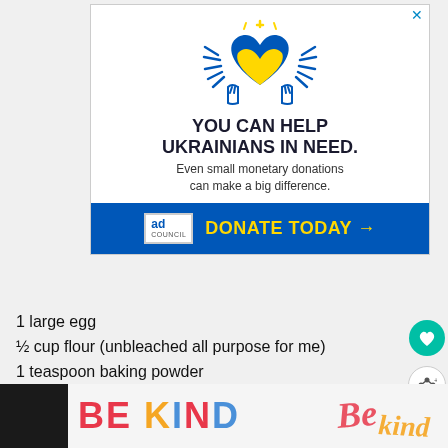[Figure (illustration): Ad banner: Ukrainian heart with wings illustration, text 'YOU CAN HELP UKRAINIANS IN NEED. Even small monetary donations can make a big difference.' with blue DONATE TODAY button and Ad Council logo]
1 large egg
½ cup flour (unbleached all purpose for me)
1 teaspoon baking powder
½ teaspoon salt (I use kosher)
[Figure (illustration): Bottom banner ad with colorful 'BE KIND' text and decorative script typography on light background]